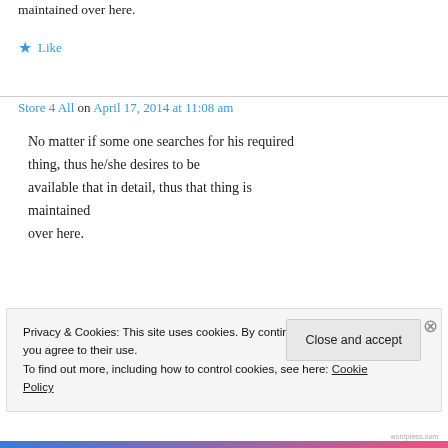maintained over here.
★ Like
Store 4 All on April 17, 2014 at 11:08 am
No matter if some one searches for his required thing, thus he/she desires to be available that in detail, thus that thing is maintained over here.
Privacy & Cookies: This site uses cookies. By continuing to use this website, you agree to their use.
To find out more, including how to control cookies, see here: Cookie Policy
Close and accept